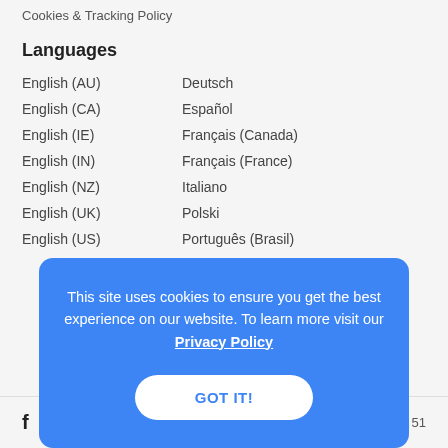Cookies & Tracking Policy
Languages
English (AU)
Deutsch
English (CA)
Español
English (IE)
Français (Canada)
English (IN)
Français (France)
English (NZ)
Italiano
English (UK)
Polski
English (US)
Português (Brasil)
This site uses cookies to ensure you get the best experience on our website. To learn more visit our Privacy Policy
GOT IT!